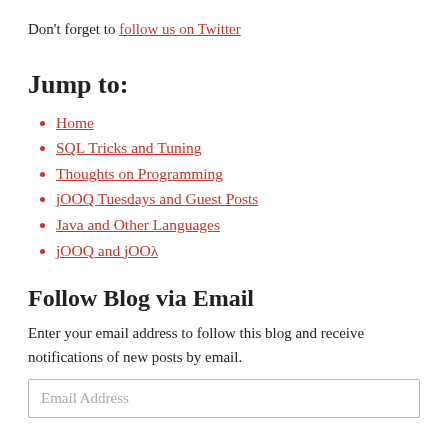Don't forget to follow us on Twitter
Jump to:
Home
SQL Tricks and Tuning
Thoughts on Programming
jOOQ Tuesdays and Guest Posts
Java and Other Languages
jOOQ and jOOλ
Follow Blog via Email
Enter your email address to follow this blog and receive notifications of new posts by email.
Email Address